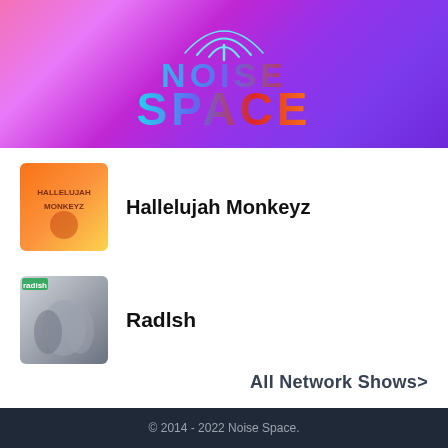[Figure (logo): Noise Space podcast network logo with radio tower arc and gradient text on colorful purple-pink background]
[Figure (photo): Hallelujah Monkeyz podcast cover art - orange/gold background with text]
Hallelujah Monkeyz
[Figure (photo): Radish podcast cover art - photo of people with radish branding]
Radlsh
All Network Shows>
© 2014 - 2022 Noise Space.